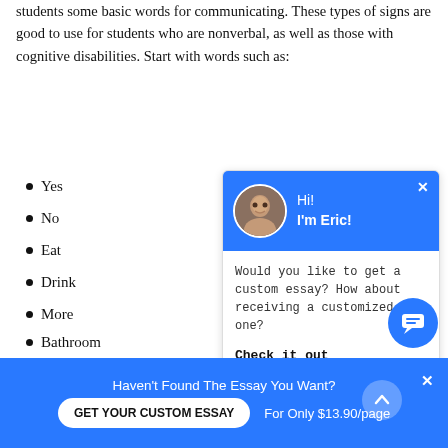students some basic words for communicating. These types of signs are good to use for students who are nonverbal, as well as those with cognitive disabilities. Start with words such as:
Yes
No
Eat
Drink
More
Bathroom
All done
[Figure (screenshot): Chat widget with blue header showing avatar of a person named Eric with greeting 'Hi! I'm Eric!' and body text 'Would you like to get a custom essay? How about receiving a customized one?' with 'Check it out' link]
Signing the Words
Yes, with one hand, make a fist with your thumb out and